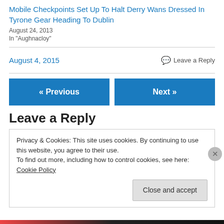Mobile Checkpoints Set Up To Halt Derry Wans Dressed In Tyrone Gear Heading To Dublin
August 24, 2013
In "Aughnacloy"
August 4, 2015
Leave a Reply
« Previous
Next »
Leave a Reply
Privacy & Cookies: This site uses cookies. By continuing to use this website, you agree to their use.
To find out more, including how to control cookies, see here: Cookie Policy
Close and accept